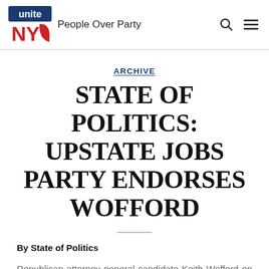unite NY — People Over Party
ARCHIVE
STATE OF POLITICS: UPSTATE JOBS PARTY ENDORSES WOFFORD
By State of Politics
Republican attorney general candidate Keith Wofford on Thursday was endorsed by the